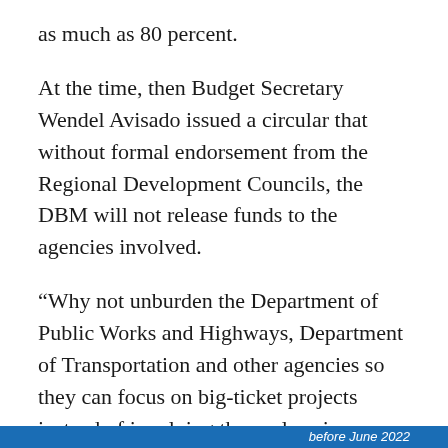as much as 80 percent.
At the time, then Budget Secretary Wendel Avisado issued a circular that without formal endorsement from the Regional Development Councils, the DBM will not release funds to the agencies involved.
“Why not unburden the Department of Public Works and Highways, Department of Transportation and other agencies so they can focus on big-ticket projects instead of involving themselves in smaller projects?” Lacson asked.
It was disclosed during the hearing that of the 119 flagship infrastructure projects of the Duterte administration, only 14 have been completed while
before June 2022